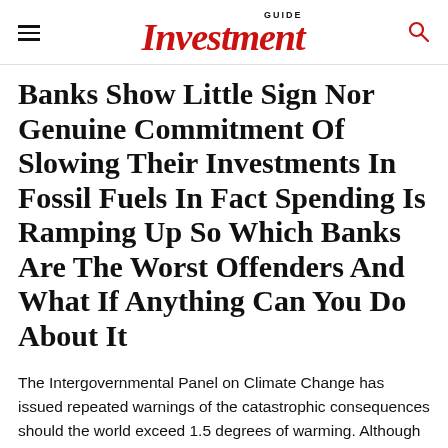GUIDE Investment
Banks Show Little Sign Nor Genuine Commitment Of Slowing Their Investments In Fossil Fuels In Fact Spending Is Ramping Up So Which Banks Are The Worst Offenders And What If Anything Can You Do About It
The Intergovernmental Panel on Climate Change has issued repeated warnings of the catastrophic consequences should the world exceed 1.5 degrees of warming. Although nearly 200 nations outlined plans to reduce emissions following the 2015 Paris Agreement